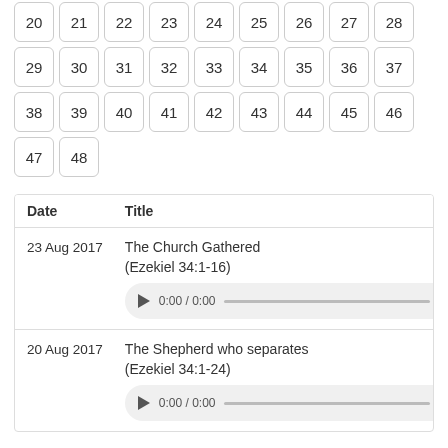| 20 | 21 | 22 | 23 | 24 | 25 | 26 | 27 | 28 |
| 29 | 30 | 31 | 32 | 33 | 34 | 35 | 36 | 37 |
| 38 | 39 | 40 | 41 | 42 | 43 | 44 | 45 | 46 |
| 47 | 48 |
| Date | Title |
| --- | --- |
| 23 Aug 2017 | The Church Gathered (Ezekiel 34:1-16) |
| 20 Aug 2017 | The Shepherd who separates (Ezekiel 34:1-24) |